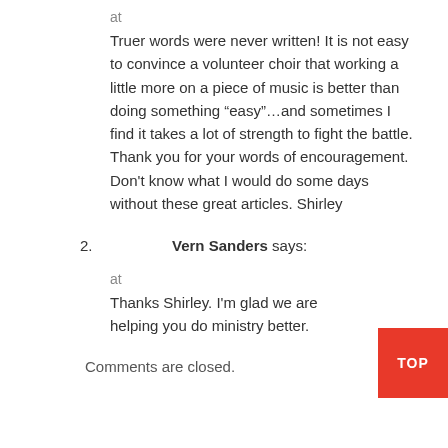at
Truer words were never written! It is not easy to convince a volunteer choir that working a little more on a piece of music is better than doing something “easy”…and sometimes I find it takes a lot of strength to fight the battle. Thank you for your words of encouragement. Don't know what I would do some days without these great articles. Shirley
2. Vern Sanders says:
at
Thanks Shirley. I'm glad we are helping you do ministry better.
Comments are closed.